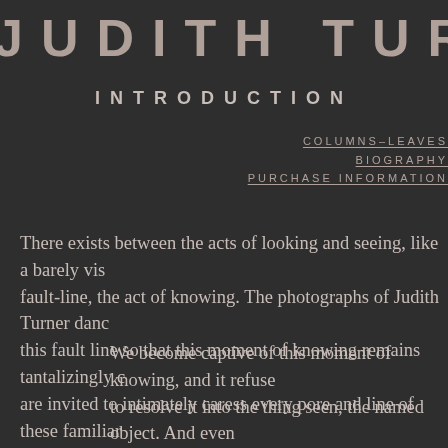JUDITH TURNER
INTRODUCTION
COLUMNS–LEAVES
BIOGRAPHY
PURCHASE INFORMATION
There exists between the acts of looking and seeing, like a barely vis fault-line, the act of knowing. The photographs of Judith Turner danc this fault line so that this moment of knowing remains tantalizingly c are invited to intimately caress every pore and line of these familiar
We become captive of this moment of knowing, and it refuse to resolve it into the thing seen, the named object. And even have the complete image once more, it draws us back inside, the smallest elements of form. When, finally, we relax into th remain deeply moved. And we approach the next image, whe predictable way of seeing is jolted askew. And again we follo plane and shadow into the object and back out again in a nev jostling of knowing by looking and seeing.